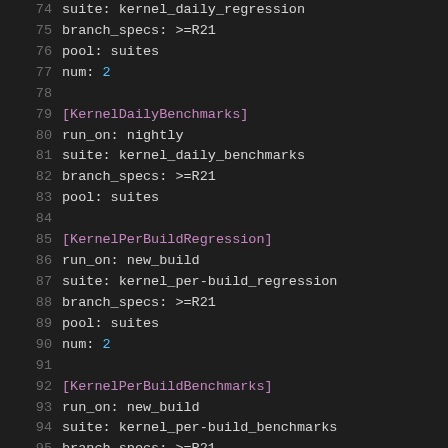74  suite: kernel_daily_regression
75  branch_specs: >=R21
76  pool: suites
77  num: 2
78
79  [KernelDailyBenchmarks]
80  run_on: nightly
81  suite: kernel_daily_benchmarks
82  branch_specs: >=R21
83  pool: suites
84
85  [KernelPerBuildRegression]
86  run_on: new_build
87  suite: kernel_per-build_regression
88  branch_specs: >=R21
89  pool: suites
90  num: 2
91
92  [KernelPerBuildBenchmarks]
93  run_on: new_build
94  suite: kernel_per-build_benchmarks
95  branch_specs: >=R21